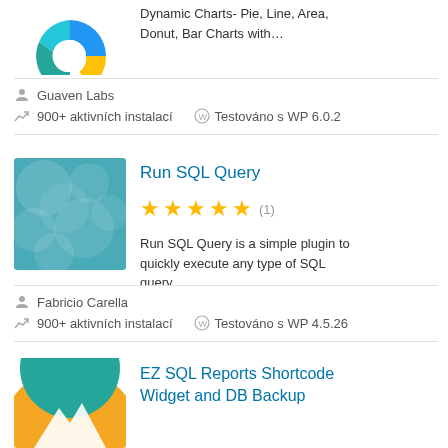[Figure (other): Partial donut/pie chart with blue, teal, and yellow segments visible at top of page]
Dynamic Charts- Pie, Line, Area, Donut, Bar Charts with…
Guaven Labs
900+ aktivních instalací
Testováno s WP 6.0.2
[Figure (illustration): Teal/cyan square plugin icon with circular bubble pattern]
Run SQL Query
[Figure (other): 5 star rating with count (1)]
Run SQL Query is a simple plugin to quickly execute any type of SQL query…
Fabricio Carella
900+ aktivních instalací
Testováno s WP 4.5.26
[Figure (illustration): Partial orange and teal/blue circular chart or logo for EZ SQL Reports]
EZ SQL Reports Shortcode Widget and DB Backup